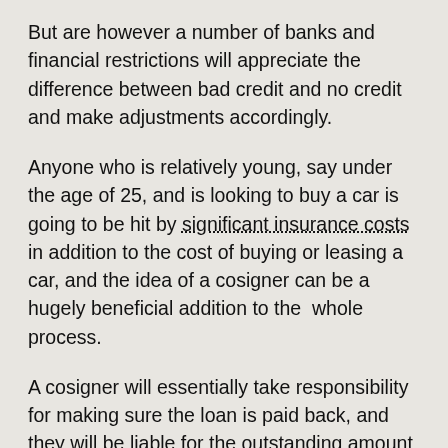But are however a number of banks and financial restrictions will appreciate the difference between bad credit and no credit and make adjustments accordingly.
Anyone who is relatively young, say under the age of 25, and is looking to buy a car is going to be hit by significant insurance costs in addition to the cost of buying or leasing a car, and the idea of a cosigner can be a hugely beneficial addition to the whole process.
A cosigner will essentially take responsibility for making sure the loan is paid back, and they will be liable for the outstanding amount of the loan if payments are missed or repayment is not able to be made. Obviously this is quite a significant responsibility for the cosigner, and is normally done either by a parent or guardian or some other family